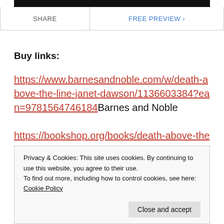[Figure (screenshot): Top black bar image (partial book cover or banner)]
SHARE | FREE PREVIEW >
Buy links:
https://www.barnesandnoble.com/w/death-above-the-line-janet-dawson/1136603384?ean=9781564746184Barnes and Noble
https://bookshop.org/books/death-above-the-
Privacy & Cookies: This site uses cookies. By continuing to use this website, you agree to their use.
To find out more, including how to control cookies, see here: Cookie Policy
Close and accept